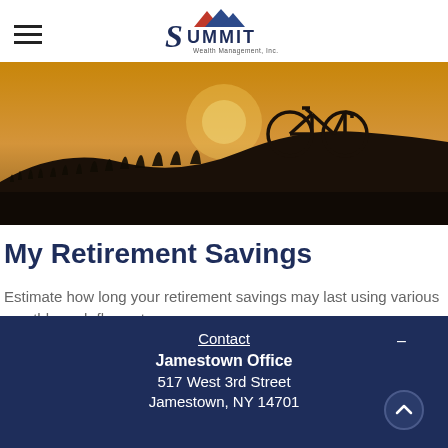Summit Wealth Management, Inc.
[Figure (photo): Silhouette of a bicycle on a hill against a warm sunset sky with tall grass in the foreground]
My Retirement Savings
Estimate how long your retirement savings may last using various monthly cash flow rates.
Contact | Jamestown Office | 517 West 3rd Street | Jamestown, NY 14701